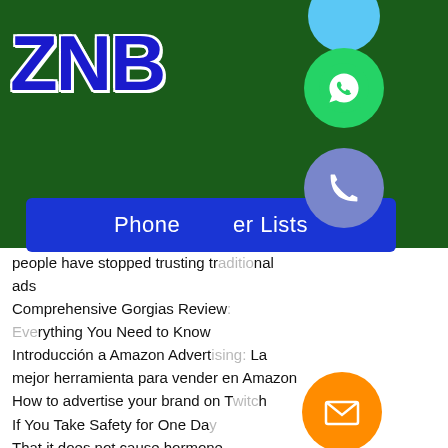[Figure (logo): ZNB logo in bold blue text on dark green background]
[Figure (infographic): Social media contact icons: WhatsApp, phone, email, LINE, Viber, close button arranged vertically on right side]
[Figure (other): Blue button reading 'Phone Number Lists']
people have stopped trusting traditional ads
Comprehensive Gorgias Review: Everything You Need to Know
Introducción a Amazon Advertising: La mejor herramienta para vender en Amazon
How to advertise your brand on Twitch
If You Take Safety for One Day
That it does not cause hormonal imbalances. When the secretion of dopamine is insufficient, it will cause people to lose control of muscles and movements
Connecting creatively with your
Remote Social Media Manager Jobs